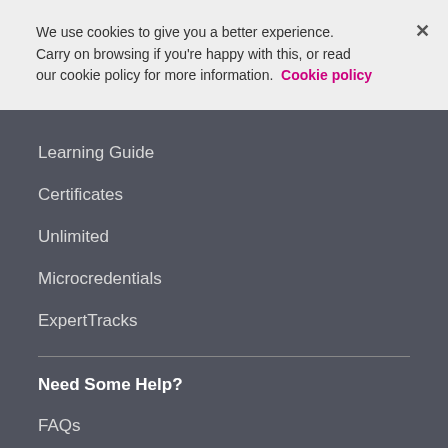We use cookies to give you a better experience. Carry on browsing if you're happy with this, or read our cookie policy for more information. Cookie policy
Learning Guide
Certificates
Unlimited
Microcredentials
ExpertTracks
Need Some Help?
FAQs
Child Safety
Help Centre